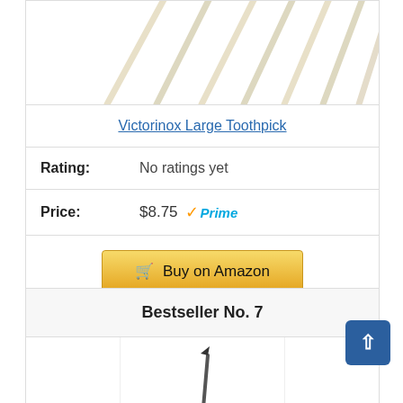[Figure (photo): Close-up photo of multiple white/cream toothpicks arranged in a fan-like pattern against a white background (top portion cut off)]
Victorinox Large Toothpick
Rating: No ratings yet
Price: $8.75 Prime
Buy on Amazon
Bestseller No. 7
[Figure (photo): Partial product image at bottom, showing what appears to be a toothpick or similar item against white background]